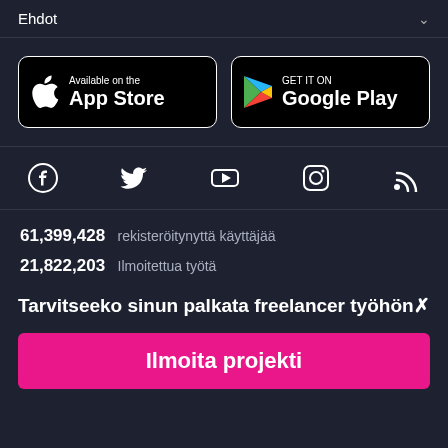Ehdot
[Figure (screenshot): App Store and Google Play store buttons]
[Figure (infographic): Social media icons: Facebook, Twitter, YouTube, Instagram, RSS]
61,399,428 rekisteröitynyttä käyttäjää
21,822,203 Ilmoitettua työtä
Tarvitseeko sinun palkata freelancer työhön✗
Ilmoita projekti